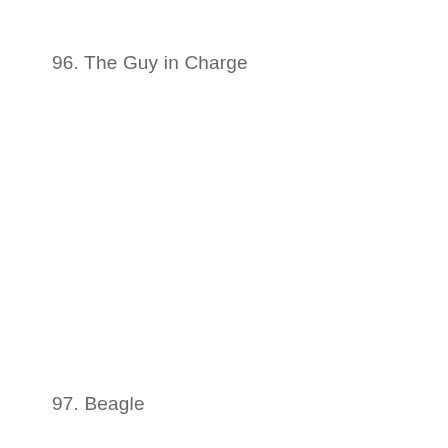96. The Guy in Charge
97. Beagle